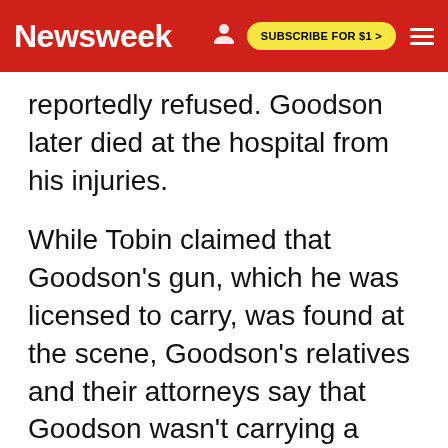Newsweek | SUBSCRIBE FOR $1 >
reportedly refused. Goodson later died at the hospital from his injuries.
While Tobin claimed that Goodson's gun, which he was licensed to carry, was found at the scene, Goodson's relatives and their attorneys say that Goodson wasn't carrying a gun, he was carrying a Subway sandwich, The Los Angeles Times reports.